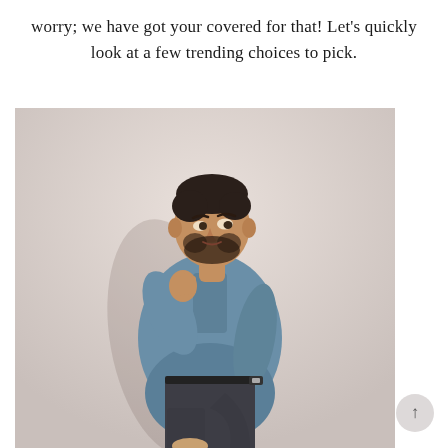worry; we have got your covered for that! Let's quickly look at a few trending choices to pick.
[Figure (photo): A young man with a beard wearing a blue chambray button-up shirt with rolled sleeves and dark pants, standing casually against a light beige/neutral background, looking to the side with one hand raised near his collar.]